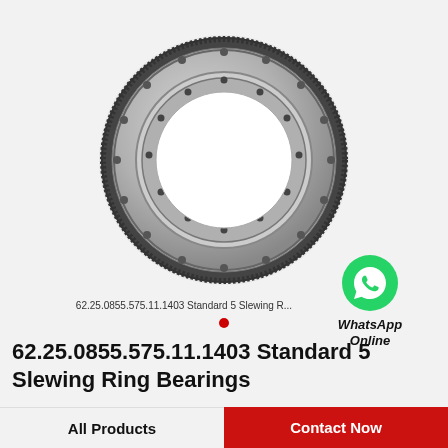[Figure (photo): Slewing ring bearing (62.25.0855.575.11.1403 Standard 5) — large annular ring with gear teeth on the outer edge and bolt holes, shown on white/gray background]
[Figure (logo): WhatsApp green phone icon badge with text 'WhatsApp Online']
62.25.0855.575.11.1403 Standard 5 Slewing R...
62.25.0855.575.11.1403 Standard 5 Slewing Ring Bearings
All Products | Contact Now